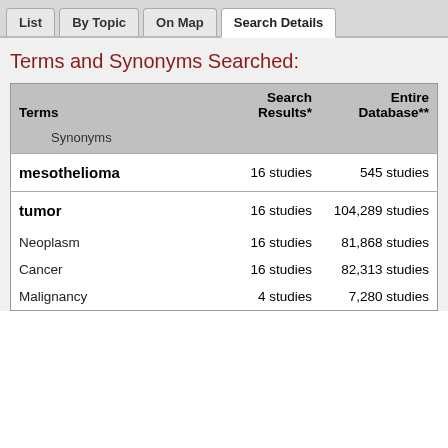List | By Topic | On Map | Search Details
Terms and Synonyms Searched:
| Terms | Search Results* | Entire Database** |
| --- | --- | --- |
| mesothelioma | 16 studies | 545 studies |
| tumor | 16 studies | 104,289 studies |
| Neoplasm | 16 studies | 81,868 studies |
| Cancer | 16 studies | 82,313 studies |
| Malignancy | 4 studies | 7,280 studies |